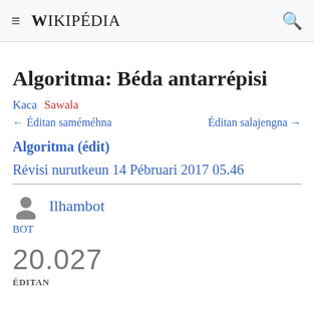≡ WIKIPÉDIA 🔍
Algoritma: Béda antarrépisi
Kaca Sawala
← Éditan saméméhna    Éditan salajengna →
Algoritma (édit)
Révisi nurutkeun 14 Pébruari 2017 05.46
Ilhambot
BOT
20.027
ÉDITAN